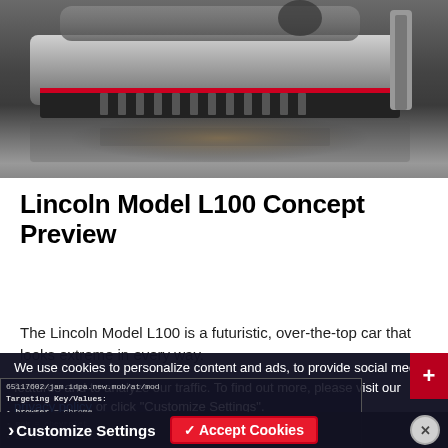[Figure (photo): Close-up of a futuristic silver/chrome luxury concept car (Lincoln Model L100) photographed on a dark reflective surface, showing the rear lower body, diffuser, and suspended tail section.]
Lincoln Model L100 Concept Preview
The Lincoln Model L100 is a futuristic, over-the-top car that looks extreme in every way.
Read the full review
We use cookies to personalize content and ads, to provide social media features and to analyze our traffic. To find out more, please visit our privacy policy or click "Customize Settings".